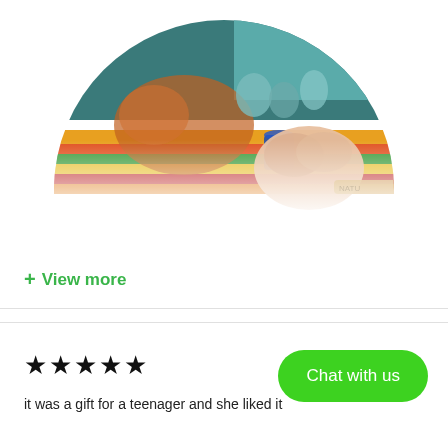[Figure (photo): Semicircular photo showing a child's hand reaching toward colorful art supplies and small jars on a table, blurred background with teal and colored items]
+ View more
★★★★★
it was a gift for a teenager and she liked it
Chat with us